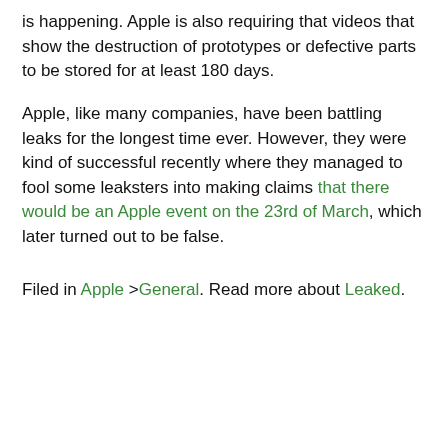is happening. Apple is also requiring that videos that show the destruction of prototypes or defective parts to be stored for at least 180 days.
Apple, like many companies, have been battling leaks for the longest time ever. However, they were kind of successful recently where they managed to fool some leaksters into making claims that there would be an Apple event on the 23rd of March, which later turned out to be false.
Filed in Apple >General. Read more about Leaked.